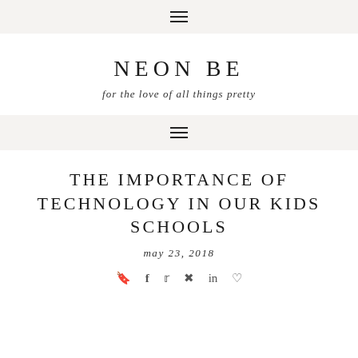☰
NEON BE
for the love of all things pretty
☰
THE IMPORTANCE OF TECHNOLOGY IN OUR KIDS SCHOOLS
may 23, 2018